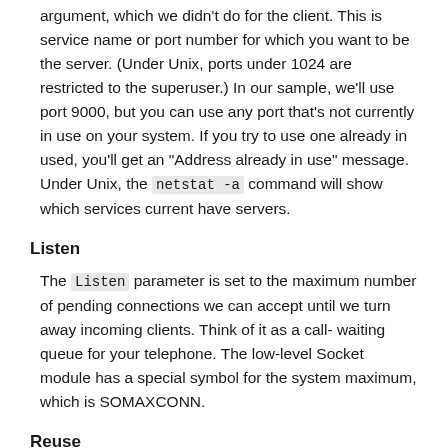argument, which we didn't do for the client. This is service name or port number for which you want to be the server. (Under Unix, ports under 1024 are restricted to the superuser.) In our sample, we'll use port 9000, but you can use any port that's not currently in use on your system. If you try to use one already in used, you'll get an "Address already in use" message. Under Unix, the netstat -a command will show which services current have servers.
Listen
The Listen parameter is set to the maximum number of pending connections we can accept until we turn away incoming clients. Think of it as a call-waiting queue for your telephone. The low-level Socket module has a special symbol for the system maximum, which is SOMAXCONN.
Reuse